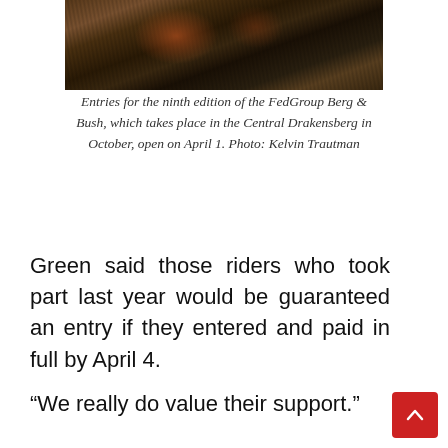[Figure (photo): Top portion of a photo showing ground-level view of bare branches/twigs and dead leaves on rocky soil, typical of a mountainous terrain. Only the bottom portion of the image is visible.]
Entries for the ninth edition of the FedGroup Berg & Bush, which takes place in the Central Drakensberg in October, open on April 1. Photo: Kelvin Trautman
Green said those riders who took part last year would be guaranteed an entry if they entered and paid in full by April 4.
“We really do value their support.”